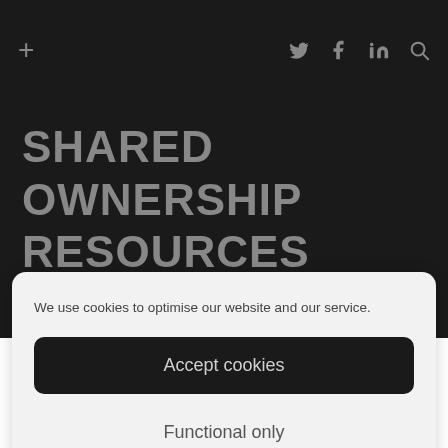+ [Twitter] [Facebook] [LinkedIn] [Search]
SHARED OWNERSHIP RESOURCES
We use cookies to optimise our website and our service.
Accept cookies
Functional only
View preferences
Cookie Policy  Privacy Statement